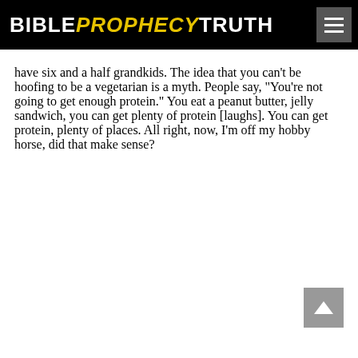BIBLE PROPHECY TRUTH
have six and a half grandkids. The idea that you can't be hoofing to be a vegetarian is a myth. People say, "You're not going to get enough protein." You eat a peanut butter, jelly sandwich, you can get plenty of protein [laughs]. You can get protein, plenty of places. All right, now, I'm off my hobby horse, did that make sense?